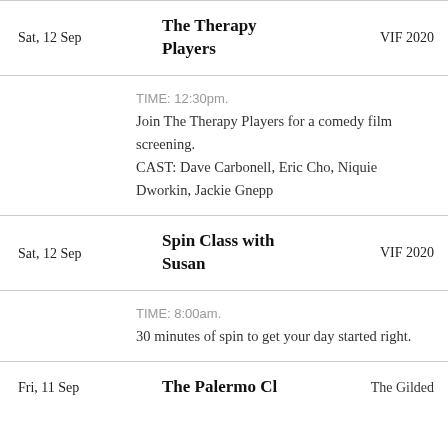| Date | Title | Venue |
| --- | --- | --- |
| Sat, 12 Sep | The Therapy Players | VIF 2020 |
|  | TIME: 12:30pm.
Join The Therapy Players for a comedy film screening.
CAST: Dave Carbonell, Eric Cho, Niquie Dworkin, Jackie Gnepp |  |
| Sat, 12 Sep | Spin Class with Susan | VIF 2020 |
|  | TIME: 8:00am.
30 minutes of spin to get your day started right. |  |
| Fri, 11 Sep | The Palermo Cl... | The Gilded ... |